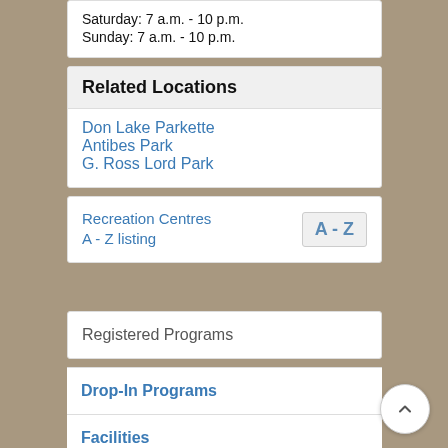Saturday: 7 a.m. - 10 p.m.
Sunday: 7 a.m. - 10 p.m.
Related Locations
Don Lake Parkette
Antibes Park
G. Ross Lord Park
Recreation Centres
A - Z listing
Registered Programs
Drop-In Programs
Facilities